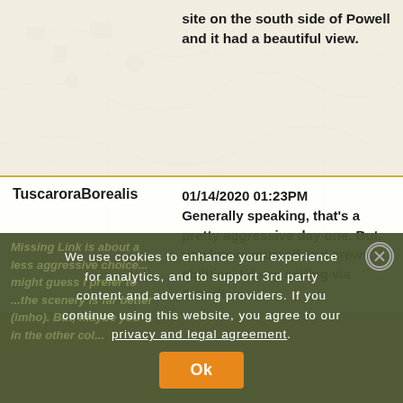| Username | Date/Comment |
| --- | --- |
|  | site on the south side of Powell and it had a beautiful view. |
| TuscaroraBorealis | 01/14/2020 01:23PM
Generally speaking, that's a pretty aggressive day one. But, you know yourself and crews abilities. I'd say exiting via Brandt vs |
Missing Link is about a less aggressive choice... might guess I prefer to ... the scenery is far better (imho). But, maybe you... in the other col...
We use cookies to enhance your experience for analytics, and to support 3rd party content and advertising providers. If you continue using this website, you agree to our privacy and legal agreement. Ok